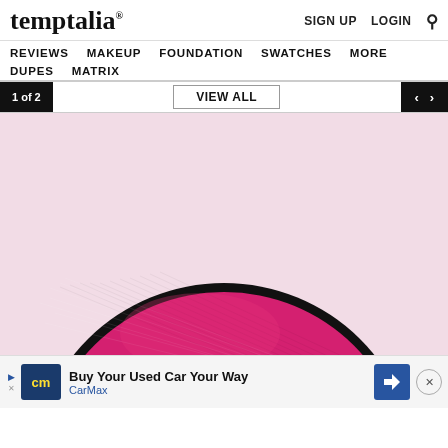temptalia® — SIGN UP  LOGIN  🔍
REVIEWS  MAKEUP  FOUNDATION  SWATCHES  MORE  DUPES  MATRIX
1 of 2   VIEW ALL   < >
[Figure (photo): Close-up macro photo of a hot pink/fuchsia pressed powder blush pan with a matte, cross-hatched pressed texture, set against a pale pink background.]
Buy Your Used Car Your Way — CarMax